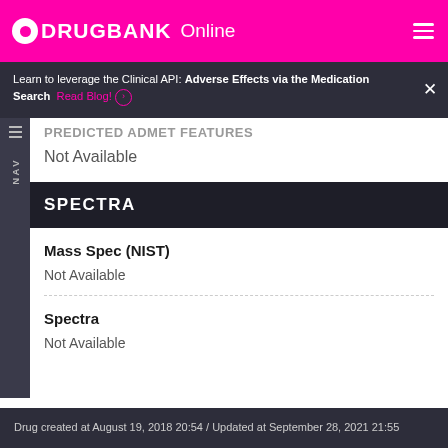DRUGBANK Online
Learn to leverage the Clinical API: Adverse Effects via the Medication Search  Read Blog!
Predicted ADMET Features
Not Available
SPECTRA
Mass Spec (NIST)
Not Available
Spectra
Not Available
Drug created at August 19, 2018 20:54 / Updated at September 28, 2021 21:55